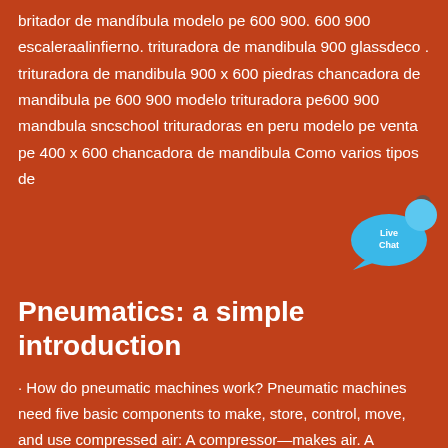britador de mandíbula modelo pe 600 900. 600 900 escaleraalinfierno. trituradora de mandibula 900 glassdeco . trituradora de mandibula 900 x 600 piedras chancadora de mandibula pe 600 900 modelo trituradora pe600 900 mandbula sncschool trituradoras en peru modelo pe venta pe 400 x 600 chancadora de mandibula Como varios tipos de
[Figure (infographic): Live Chat widget — a blue speech bubble icon with 'Live Chat' text in white and a small 'x' close button]
Pneumatics: a simple introduction
· How do pneumatic machines work? Pneumatic machines need five basic components to make, store, control, move, and use compressed air: A compressor—makes air. A reservoir (or receiver)—stores air. One or more valves—control air. A circuit —moves air between the other components. An actuator or